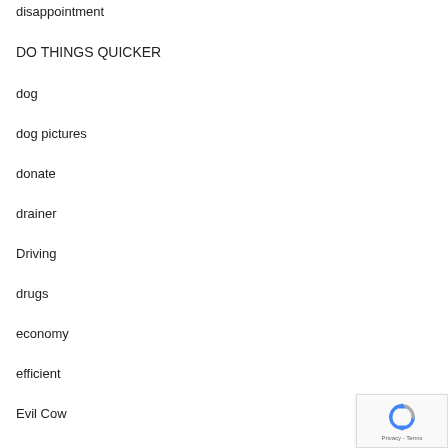disappointment
DO THINGS QUICKER
dog
dog pictures
donate
drainer
Driving
drugs
economy
efficient
Evil Cow
[Figure (other): reCAPTCHA privacy widget with circular arrows icon and Privacy - Terms text]